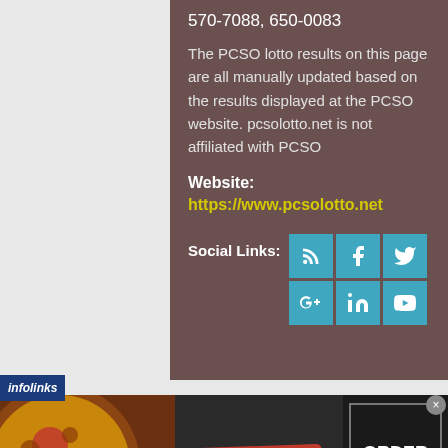570-7088, 650-0083
The PCSO lotto results on this page are all manually updated based on the results displayed at the PCSO website. pcsolotto.net is not affiliated with PCSO
Website:
https://www.pcsolotto.net
Social Links:
[Figure (infographic): Social media icon buttons arranged in a 3x2 grid: RSS, Facebook, Twitter (top row), Google+, LinkedIn, YouTube (bottom row). All icons are teal/blue colored squares with white icons.]
[Figure (infographic): Infolinks advertisement bar followed by a Seamless food delivery ad showing pizza image on left, Seamless red button in center, and ORDER NOW box on right with a close X button.]